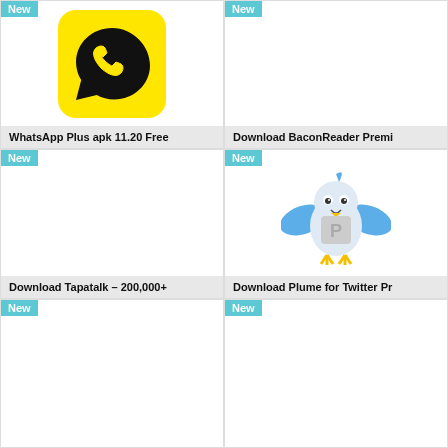[Figure (screenshot): App card: WhatsApp Plus apk 11.20 Free, yellow WhatsApp icon, badge New]
[Figure (screenshot): App card: Download BaconReader Premi, blank image, badge New]
[Figure (screenshot): App card: Download Tapatalk 200,000+, blank image, badge New]
[Figure (screenshot): App card: Download Plume for Twitter Pr, blue bird mascot with P logo, badge New]
[Figure (screenshot): App card: (bottom left), blank image, badge New]
[Figure (screenshot): App card: (bottom right), blank image, badge New]